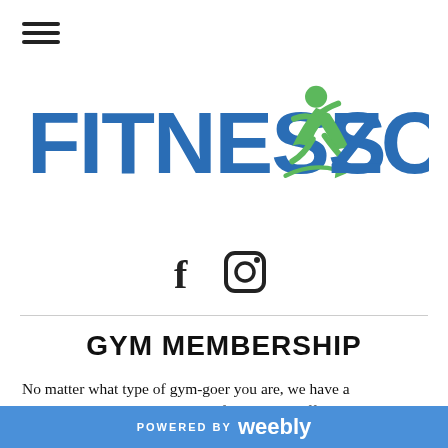[Figure (logo): Fitness Zone logo with blue text 'FITNESS ZONE' and a green running figure icon between the words]
[Figure (other): Social media icons: Facebook 'f' and Instagram camera icon]
GYM MEMBERSHIP
No matter what type of gym-goer you are, we have a membership option that is right for you! We offer the best in gym equipment including our easy-to-use, innovative Strive Strength machines, free weights including
POWERED BY weebly